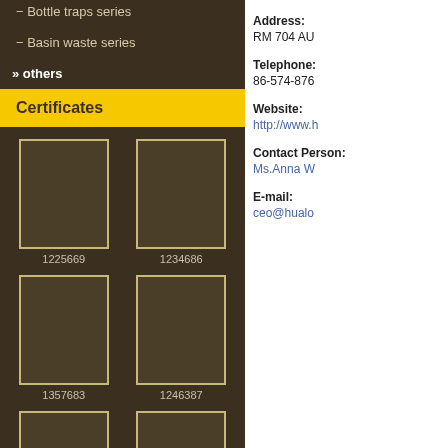− Bottle traps series
− Basin waste series
» others
Certificates
[Figure (other): Certificate thumbnail 1225669]
1225669
[Figure (other): Certificate thumbnail 1234686]
1234686
[Figure (other): Certificate thumbnail 1357683]
1357683
[Figure (other): Certificate thumbnail 1246387]
1246387
[Figure (other): Certificate thumbnail ISO14001-]
ISO14001-
[Figure (other): Certificate thumbnail ISO9001-]
ISO9001-
Address: RM 704 AU
Telephone: 86-574-876
Website: http://www.h
Contact Person: Ms.Anna W
E-mail: ceo@hualo